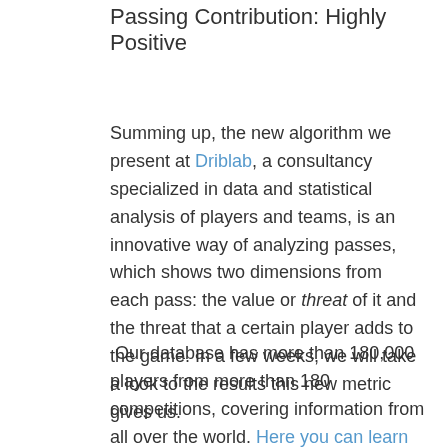Passing Contribution: Highly Positive
Summing up, the new algorithm we present at Driblab, a consultancy specialized in data and statistical analysis of players and teams, is an innovative way of analyzing passes, which shows two dimensions from each pass: the value or threat of it and the threat that a certain player adds to the game. In a few weeks, we will take a look to the results this new metric gives us.
Our database has more than 180,000 players from more than 180 competitions, covering information from all over the world. Here you can learn more about how we work and what we offer.